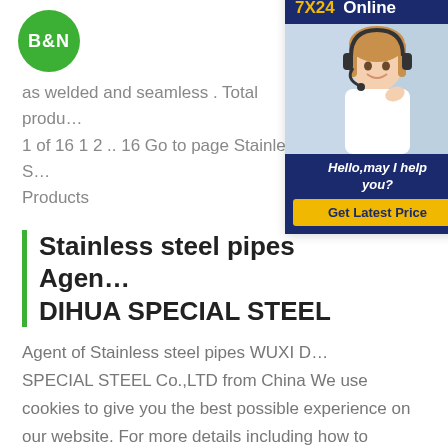B&N
as welded and seamless . Total products 1 of 16 1 2 .. 16 Go to page Stainless Steel Products
[Figure (infographic): 7X24 Online customer service panel with a photo of a woman wearing a headset, text 'Hello,may I help you?' and a 'Get Latest Price' button]
Stainless steel pipes Agent DIHUA SPECIAL STEEL
Agent of Stainless steel pipes WUXI DIHUA SPECIAL STEEL Co.,LTD from China We use cookies to give you the best possible experience on our website. For more details including how to change your cookie settings, please read our Cookie Policy . astm a358-astm a358astm a358Stainless Steel Seamless Tubing has won more than 50